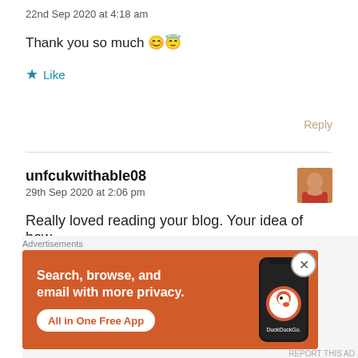22nd Sep 2020 at 4:18 am
Thank you so much 😊😇
★ Like
Reply
unfcukwithable08
29th Sep 2020 at 2:06 pm
Really loved reading your blog. Your idea of how
Advertisements
[Figure (screenshot): DuckDuckGo advertisement banner with orange background. Text: 'Search, browse, and email with more privacy. All in One Free App'. Shows a phone with DuckDuckGo app and logo.]